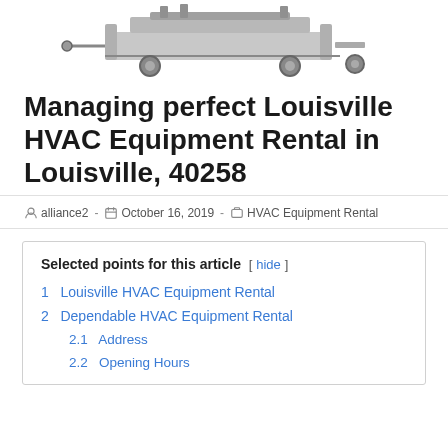[Figure (photo): Partial image of HVAC equipment on a trailer, shown at the top of the page cropped]
Managing perfect Louisville HVAC Equipment Rental in Louisville, 40258
alliance2  -  October 16, 2019  -  HVAC Equipment Rental
1  Louisville HVAC Equipment Rental
2  Dependable HVAC Equipment Rental
2.1  Address
2.2  Opening Hours